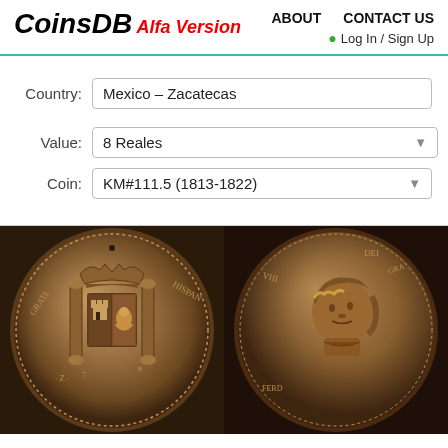CoinsDB Alfa Version — ABOUT   CONTACT US   Log In / Sign Up
Country: Mexico - Zacatecas
Value: 8 Reales
Coin: KM#111.5 (1813-1822)
[Figure (photo): Two sides of a silver 8 Reales coin from Mexico-Zacatecas, KM#111.5 (1813-1822). Left side shows the coat of arms/shield with crowned pillars; right side shows a royal portrait bust.]